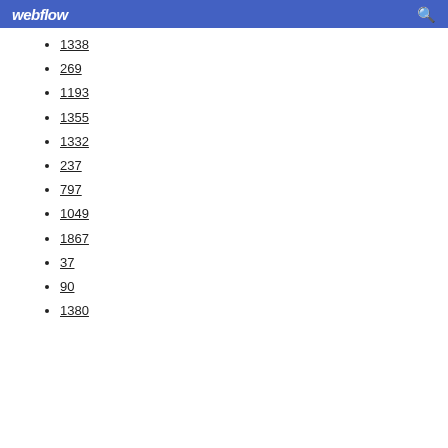webflow
1338
269
1193
1355
1332
237
797
1049
1867
37
90
1380